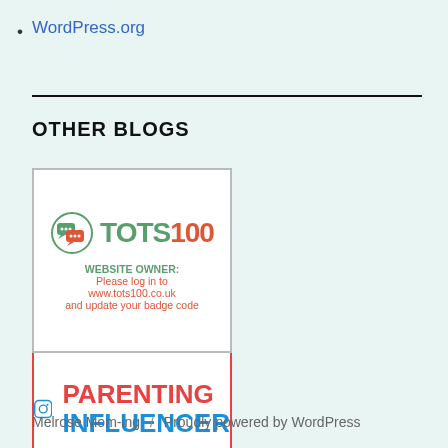WordPress.org
OTHER BLOGS
[Figure (logo): TOTS100 badge with website owner login message and Parenting Influencer badge with Instagram icon]
Melrose Mom-ing / Proudly powered by WordPress